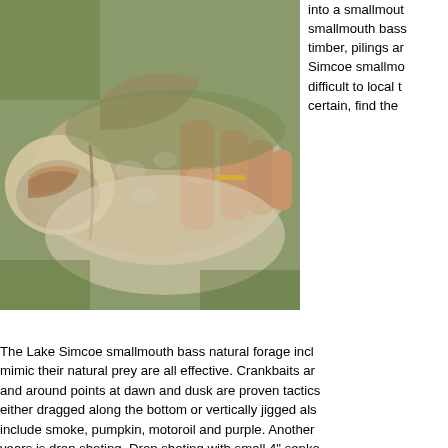[Figure (photo): Close-up photo of a person holding a smallmouth bass fish, showing the fish's open mouth and scales, with a hand visible.]
into a smallmouth bass, smallmouth bass timber, pilings and Simcoe smallmouth difficult to local t certain, find the
The Lake Simcoe smallmouth bass natural forage incl mimic their natural prey are all effective. Crankbaits ar and around points at dawn and dusk are proven tactics either dragged along the bottom or vertically jigged als include smoke, pumpkin, motoroil and purple. Another years is drop shoting. Drop shoting with small 4" senko are schooled and feeding heavily, especially in the fall. zebra mussels and round gobies, the Lake Simcoe sm mussels with their filtering action have cleared the wat bass being visual hunters have benefited from the incr
Furthermore, the round gobies have become a stanle